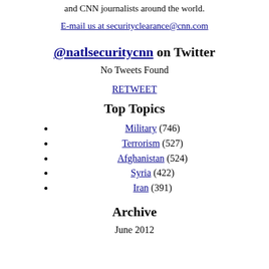and CNN journalists around the world.
E-mail us at securityclearance@cnn.com
@natlsecuritycnn on Twitter
No Tweets Found
RETWEET
Top Topics
Military (746)
Terrorism (527)
Afghanistan (524)
Syria (422)
Iran (391)
Archive
June 2012